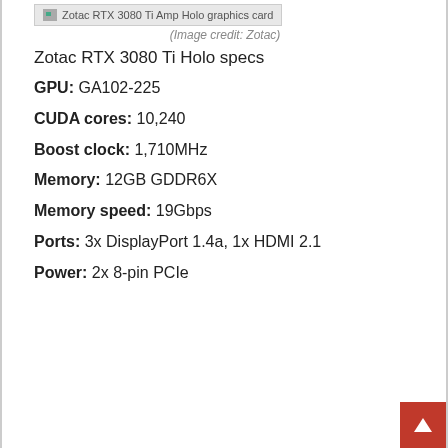[Figure (photo): Zotac RTX 3080 Ti Amp Holo graphics card placeholder image]
(Image credit: Zotac)
Zotac RTX 3080 Ti Holo specs
GPU: GA102-225
CUDA cores: 10,240
Boost clock: 1,710MHz
Memory: 12GB GDDR6X
Memory speed: 19Gbps
Ports: 3x DisplayPort 1.4a, 1x HDMI 2.1
Power: 2x 8-pin PCIe